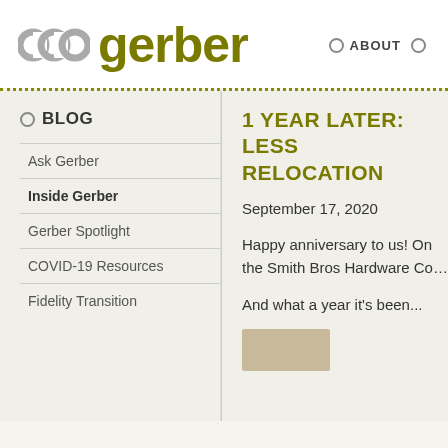[Figure (logo): Gerber logo with stylized 'coo' icon in gray and 'gerber' text in olive/dark yellow]
ABOUT ○
○ BLOG
Ask Gerber
Inside Gerber
Gerber Spotlight
COVID-19 Resources
Fidelity Transition
1 YEAR LATER: LESS… RELOCATION
September 17, 2020
Happy anniversary to us! On the Smith Bros Hardware Co…
And what a year it's been...
[Figure (photo): Partial photo strip at bottom right of article]